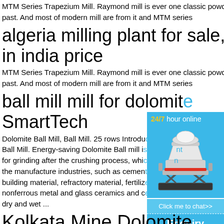MTM Series Trapezium Mill. Raymond mill is ever one classic powder grinding machine in the past. And most of modern mill are from it and MTM series
algeria milling plant for sale, grinding mill in india price
MTM Series Trapezium Mill. Raymond mill is ever one classic powder grinding machine in the past. And most of modern mill are from it and MTM series
ball mill mill for dolomite SmartTech
Dolomite Ball Mill, Ball Mill. 25 rows Introduc... Ball Mill. Energy-saving Dolomite Ball mill is... for grinding after the crushing process, whi... the manufacture industries, such as cemen... building material, refractory material, fertiliz... nonferrous metal and glass ceramics and c... dry and wet ...
Kolkata Mine Dolomite
[Figure (illustration): Sidebar widget showing a cone crusher machine image with blue background, '24/7 hour online' header in yellow/white text, 'Click me to chat>>' button, 'Enquiry' section, and 'limingjlmofen' text at bottom.]